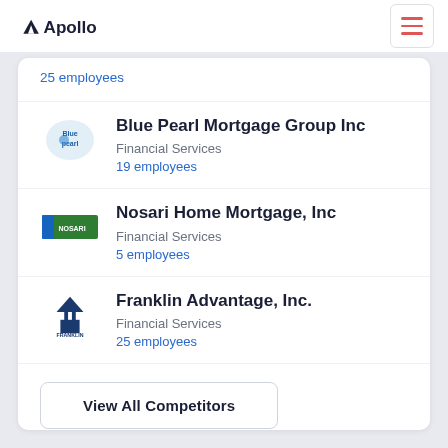Apollo
25 employees
Blue Pearl Mortgage Group Inc
Financial Services
19 employees
Nosari Home Mortgage, Inc
Financial Services
5 employees
Franklin Advantage, Inc.
Financial Services
25 employees
View All Competitors